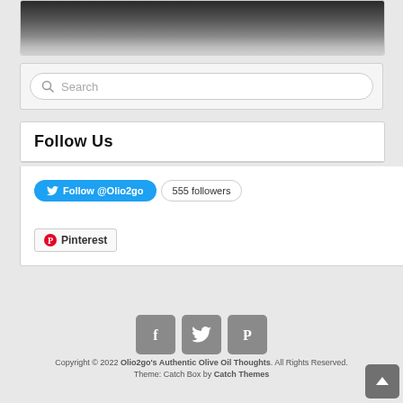[Figure (photo): Partial photo visible at top of page, dark background with some product/object]
Search
Follow Us
Follow @Olio2go  555 followers
Pinterest
[Figure (infographic): Social media icons: Facebook, Twitter, Pinterest in grey square buttons]
Copyright © 2022 Olio2go's Authentic Olive Oil Thoughts. All Rights Reserved.
Theme: Catch Box by Catch Themes